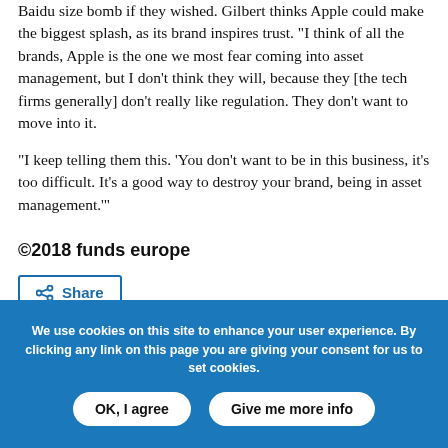Baidu size bomb if they wished. Gilbert thinks Apple could make the biggest splash, as its brand inspires trust. "I think of all the brands, Apple is the one we most fear coming into asset management, but I don't think they will, because they [the tech firms generally] don't really like regulation. They don't want to move into it.
"I keep telling them this. 'You don't want to be in this business, it's too difficult. It's a good way to destroy your brand, being in asset management.'"
©2018 funds europe
[Figure (other): Share button with arrow icon]
We use cookies on this site to enhance your user experience. By clicking any link on this page you are giving your consent for us to set cookies.
OK, I agree   Give me more info